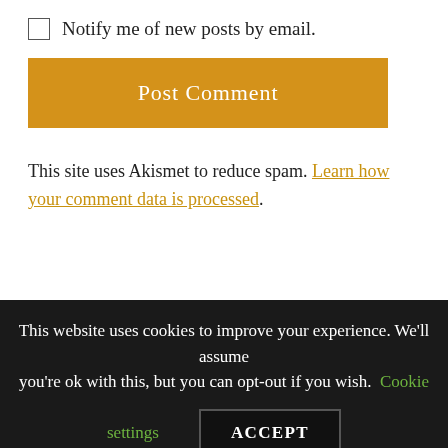Notify me of new posts by email.
Post Comment
This site uses Akismet to reduce spam. Learn how your comment data is processed.
This website uses cookies to improve your experience. We'll assume you're ok with this, but you can opt-out if you wish. Cookie settings ACCEPT